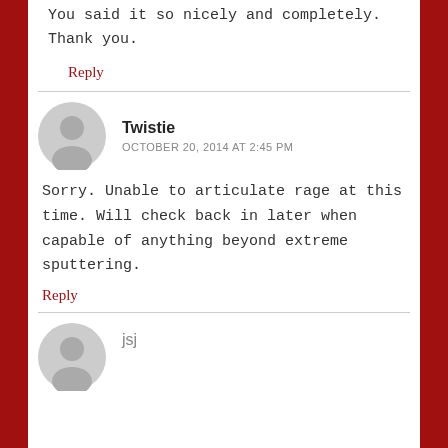You said it so nicely and completely. Thank you.
Reply
Twistie
OCTOBER 20, 2014 AT 2:45 PM
Sorry. Unable to articulate rage at this time. Will check back in later when capable of anything beyond extreme sputtering.
Reply
jsj